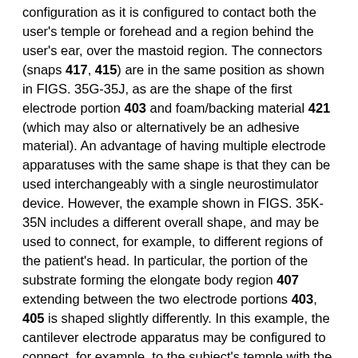configuration as it is configured to contact both the user's temple or forehead and a region behind the user's ear, over the mastoid region. The connectors (snaps 417, 415) are in the same position as shown in FIGS. 35G-35J, as are the shape of the first electrode portion 403 and foam/backing material 421 (which may also or alternatively be an adhesive material). An advantage of having multiple electrode apparatuses with the same shape is that they can be used interchangeably with a single neurostimulator device. However, the example shown in FIGS. 35K-35N includes a different overall shape, and may be used to connect, for example, to different regions of the patient's head. In particular, the portion of the substrate forming the elongate body region 407 extending between the two electrode portions 403, 405 is shaped slightly differently. In this example, the cantilever electrode apparatus may be configured to connect, for example, to the subject's temple with the first electrode portion (to which the neurostimulator may be connected) and the